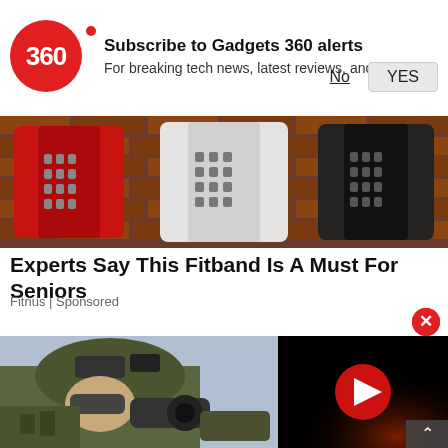[Figure (logo): Gadgets 360 red circular logo with '360' text]
Subscribe to Gadgets 360 alerts
For breaking tech news, latest reviews, and more
No   YES
[Figure (photo): Three fitness tracker wristbands (red, white, black) displayed against a brick wall background]
Experts Say This Fitband Is A Must For Seniors
Fitnus | Sponsored
[Figure (photo): Close-up of a soldier in camouflage gear looking through a scope or equipment]
[Figure (screenshot): Video player thumbnail with black background, red glow effect, and red play button circle]